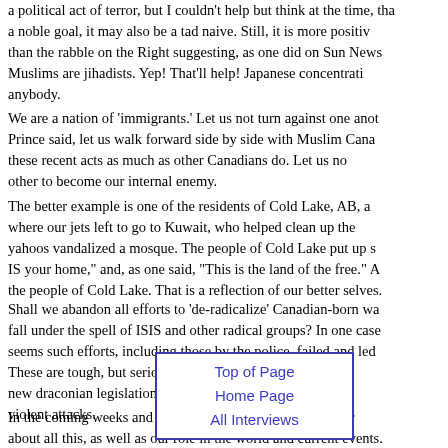a political act of terror, but I couldn't help but think at the time, that while a noble goal, it may also be a tad naive. Still, it is more positive than the rabble on the Right suggesting, as one did on Sun News, that all Muslims are jihadists. Yep! That'll help! Japanese concentration camps, anybody.
We are a nation of 'immigrants.' Let us not turn against one another. As Prince said, let us walk forward side by side with Muslim Canadians who abhor these recent acts as much as other Canadians do. Let us not allow fear of the other to become our internal enemy.
The better example is one of the residents of Cold Lake, AB, a military town where our jets left to go to Kuwait, who helped clean up the mess after some yahoos vandalized a mosque. The people of Cold Lake put up signs saying "This IS your home," and, as one said, "This is the land of the free." Amen to the people of Cold Lake. That is a reflection of our better selves.
Shall we abandon all efforts to 'de-radicalize' Canadian-born wanderers who fall under the spell of ISIS and other radical groups? In one case, at least, it seems such efforts, including those by the police, failed and led to violence. These are tough, but serious, challenges with no guarantees of success. Will new draconian legislation rushed through by Harper-ites, in the wake of these violent attacks.
[Figure (other): Popup navigation box with links: Top of Page, Home Page, All Interviews]
In the coming weeks and months, let us have a calm but very serious debate about all this, as well as our role in the world and current events.